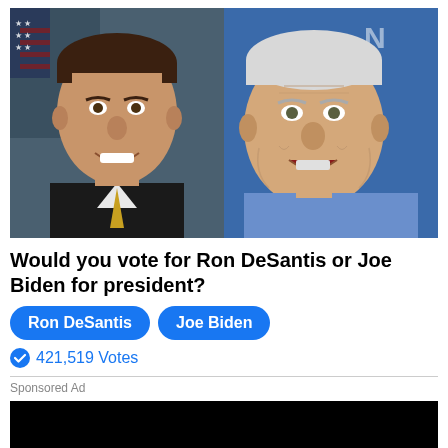[Figure (photo): Side-by-side photos of Ron DeSantis (left, in black suit with American flag background) and Joe Biden (right, in blue shirt, older man)]
Would you vote for Ron DeSantis or Joe Biden for president?
Ron DeSantis | Joe Biden (vote buttons)
421,519 Votes
Sponsored Ad
[Figure (photo): Black rectangle (video or image placeholder)]